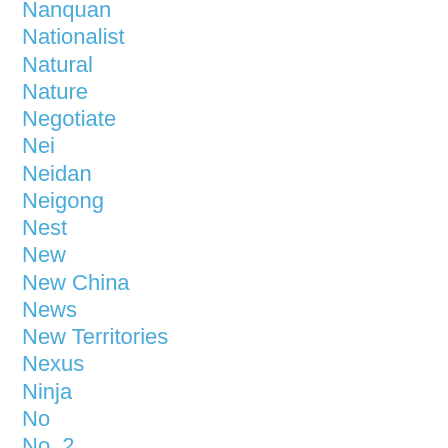Nanquan
Nationalist
Natural
Nature
Negotiate
Nei
Neidan
Neigong
Nest
New
New China
News
New Territories
Nexus
Ninja
No
No. 2
Non-action
Non-alignment
Non-Chinese
Non-delusion